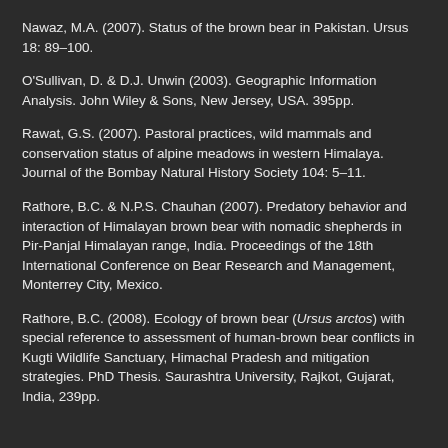Nawaz, M.A. (2007). Status of the brown bear in Pakistan. Ursus 18: 89–100.
O'Sullivan, D. & D.J. Unwin (2003). Geographic Information Analysis. John Wiley & Sons, New Jersey, USA. 395pp.
Rawat, G.S. (2007). Pastoral practices, wild mammals and conservation status of alpine meadows in western Himalaya. Journal of the Bombay Natural History Society 104: 5–11.
Rathore, B.C. & N.P.S. Chauhan (2007). Predatory behavior and interaction of Himalayan brown bear with nomadic shepherds in Pir-Panjal Himalayan range, India. Proceedings of the 18th International Conference on Bear Research and Management, Monterrey City, Mexico.
Rathore, B.C. (2008). Ecology of brown bear (Ursus arctos) with special reference to assessment of human-brown bear conflicts in Kugti Wildlife Sanctuary, Himachal Pradesh and mitigation strategies. PhD Thesis. Saurashtra University, Rajkot, Gujarat, India, 239pp.